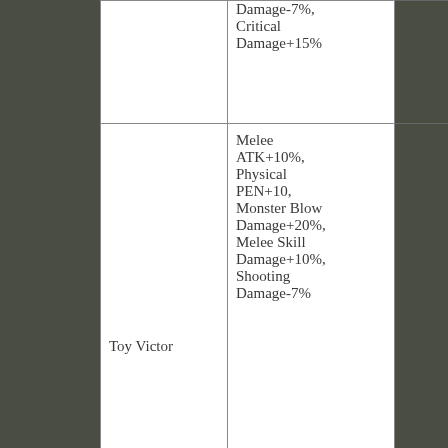| Name | Effects | Rank |  |
| --- | --- | --- | --- |
|  | Damage-7%, Critical Damage+15% |  |  |
| Toy Victor | Melee ATK+10%, Physical PEN+10, Monster Blow Damage+20%, Melee Skill Damage+10%, Shooting Damage-7% |  |  |
| White Tiger | Buff: Monster Blow Damage+10%, PEN+5, IMM+5, DEF+10, Crit+5, MOVE SPD+10% | Beginner |  |
|  | Buff: Melee ATK+10%, ATK SPD+10% |  |  |